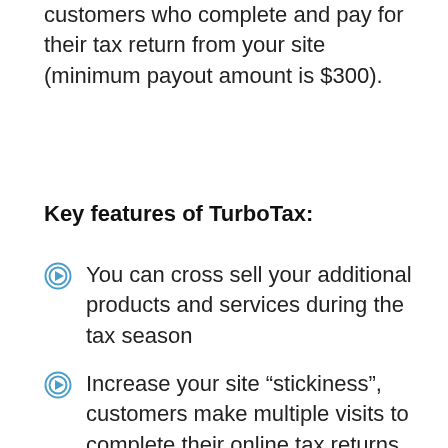customers who complete and pay for their tax return from your site (minimum payout amount is $300).
Key features of TurboTax:
You can cross sell your additional products and services during the tax season
Increase your site “stickiness”, customers make multiple visits to complete their online tax returns
Access to a dedicated and experienced team
Easy set up and ongoing support